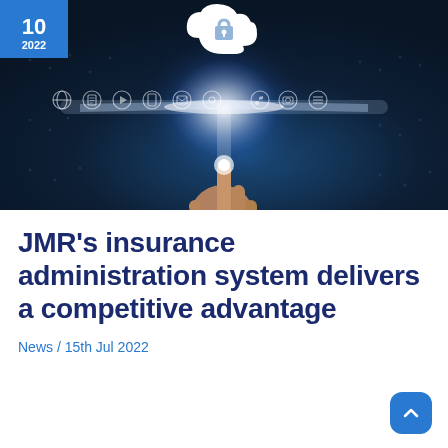[Figure (photo): Hero image showing a hand pointing upward toward a glowing cloud with a lock icon, surrounded by technology/connectivity icons on a dark blue digital background. A date badge '10 / 2022' appears in the top-left corner in blue.]
JMR’s insurance administration system delivers a competitive advantage
News / 15th Jul 2022